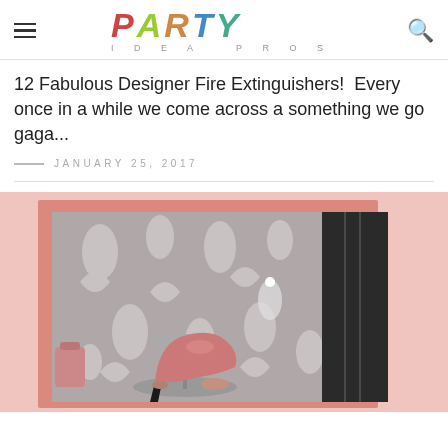PARTY IDEA PROS
12 Fabulous Designer Fire Extinguishers!  Every once in a while we come across a something we go gaga...
JANUARY 25, 2017
[Figure (illustration): Designer fire extinguisher illustration: a stylized pink high heel shoe on a pedestal table, set against a gray floral damask background, with a dark panel on the right and pink border frame. Other feminine accessories visible.]